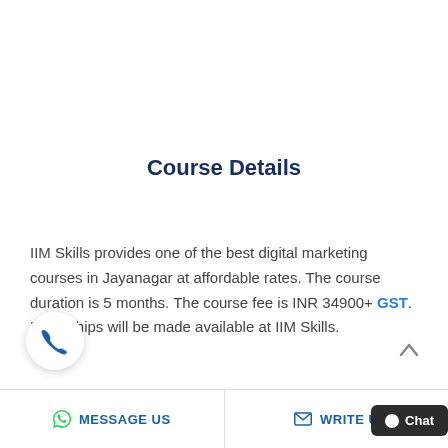Course Details
IIM Skills provides one of the best digital marketing courses in Jayanagar at affordable rates. The course duration is 5 months. The course fee is INR 34900+ GST. Internships will be made available at IIM Skills.
MESSAGE US   WRITE US   Chat